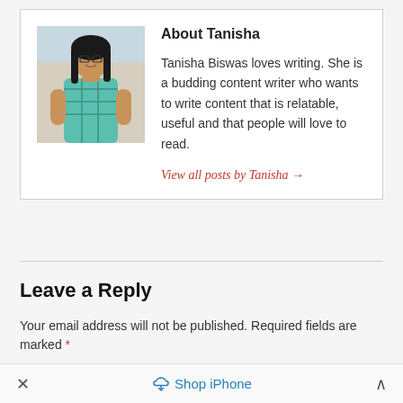[Figure (photo): Photo of Tanisha Biswas, a young woman with long dark hair and glasses, wearing a teal plaid shirt, standing outdoors]
About Tanisha
Tanisha Biswas loves writing. She is a budding content writer who wants to write content that is relatable, useful and that people will love to read.
View all posts by Tanisha →
Leave a Reply
Your email address will not be published. Required fields are marked *
× Shop iPhone ∧